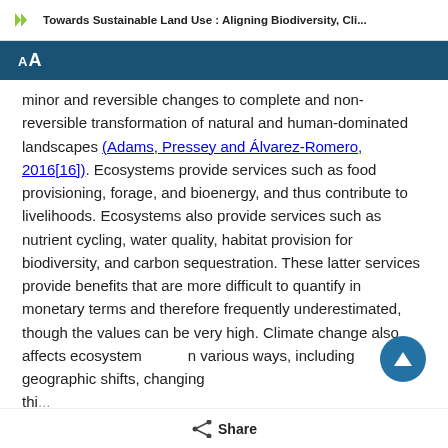Towards Sustainable Land Use : Aligning Biodiversity, Cli...
minor and reversible changes to complete and non-reversible transformation of natural and human-dominated landscapes (Adams, Pressey and Álvarez-Romero, 2016[16]). Ecosystems provide services such as food provisioning, forage, and bioenergy, and thus contribute to livelihoods. Ecosystems also provide services such as nutrient cycling, water quality, habitat provision for biodiversity, and carbon sequestration. These latter services provide benefits that are more difficult to quantify in monetary terms and therefore frequently underestimated, though the values can be very high. Climate change also affects ecosystems in various ways, including geographic shifts, changing their composition and disruption of nutrient cycling.